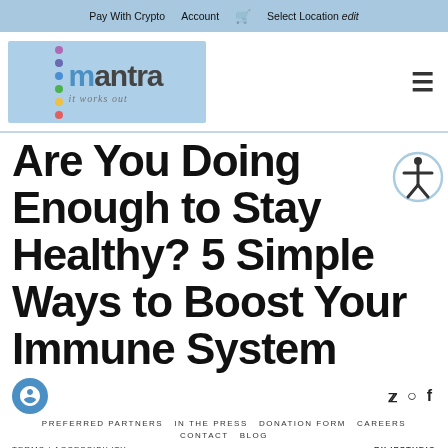Pay With Crypto  Account  🛒  Select Location edit
[Figure (logo): Mantra 'it works out' logo with colored dots on blue background]
Are You Doing Enough to Stay Healthy? 5 Simple Ways to Boost Your Immune System
PREFERRED PARTNERS  IN THE PRESS  DONATION FORM  CAREERS  CONTACT  BLOG
TERMS | ACCESSIBILITY  BY IPSTUDIO